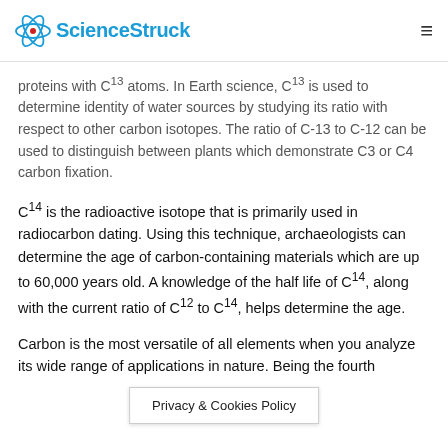ScienceStruck
proteins with C¹³ atoms. In Earth science, C¹³ is used to determine identity of water sources by studying its ratio with respect to other carbon isotopes. The ratio of C-13 to C-12 can be used to distinguish between plants which demonstrate C3 or C4 carbon fixation.
C¹⁴ is the radioactive isotope that is primarily used in radiocarbon dating. Using this technique, archaeologists can determine the age of carbon-containing materials which are up to 60,000 years old. A knowledge of the half life of C¹⁴, along with the current ratio of C¹² to C¹⁴, helps determine the age.
Carbon is the most versatile of all elements when you analyze its wide range of applications in nature. Being the fourth most abundant element in the universe,
Privacy & Cookies Policy